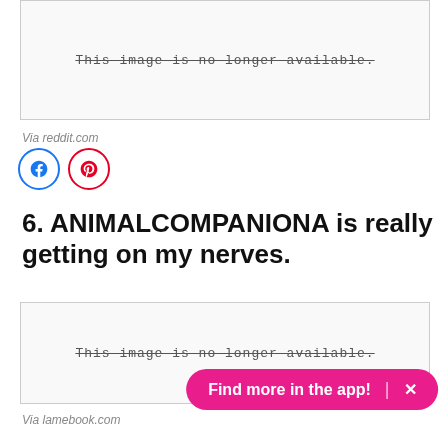[Figure (other): Placeholder: This image is no longer available.]
Via reddit.com
[Figure (other): Social share buttons: Facebook and Pinterest]
6. ANIMALCOMPANIONA is really getting on my nerves.
[Figure (other): Placeholder: This image is no longer available.]
Via lamebook.com
Find more in the app!